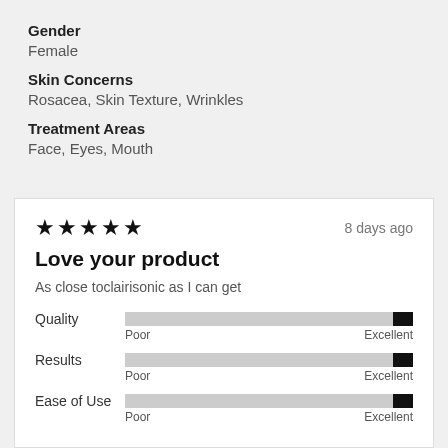Gender
Female
Skin Concerns
Rosacea, Skin Texture, Wrinkles
Treatment Areas
Face, Eyes, Mouth
★★★★★   8 days ago
Love your product
As close toclairisonic as I can get
Quality — Poor to Excellent (bar at max)
Results — Poor to Excellent (bar at max)
Ease of Use — Poor to Excellent (bar at max)